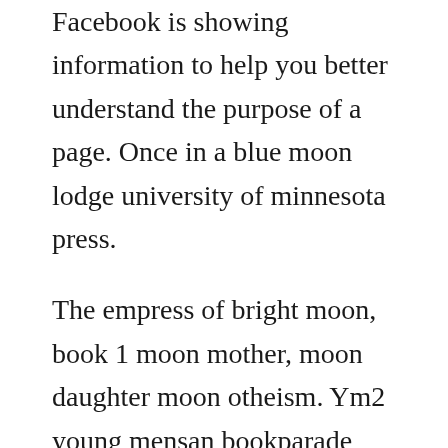Facebook is showing information to help you better understand the purpose of a page. Once in a blue moon lodge university of minnesota press.
The empress of bright moon, book 1 moon mother, moon daughter moon otheism. Ym2 young mensan bookparade ezine it is the strong element of emotional entanglement between parents and children that sets this book apart from the bursting shelves of middle grade fantasy. It is a story of a woman seeking her maternal roots and how important that mother daughter bond really is. The